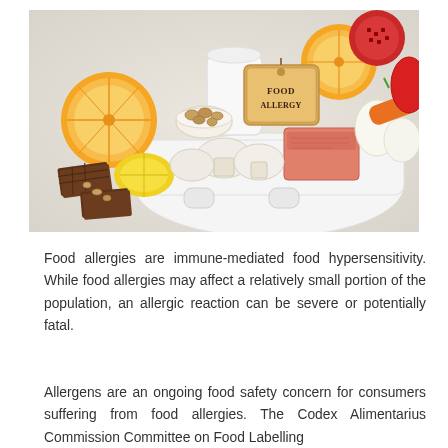[Figure (photo): A food allergy themed photo showing various common allergen foods arranged on a white tray and surface: sliced oranges, lemons, a white pitcher/jug, pomegranate, a label tag reading 'FOOD ALLERGY', mushrooms, salmon/fish, eggs, chocolate pieces, nuts, carrots, and other foods on a light background.]
Food allergies are immune-mediated food hypersensitivity. While food allergies may affect a relatively small portion of the population, an allergic reaction can be severe or potentially fatal.
Allergens are an ongoing food safety concern for consumers suffering from food allergies. The Codex Alimentarius Commission Committee on Food Labelling